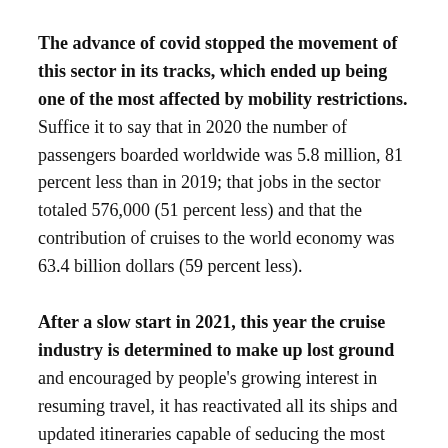The advance of covid stopped the movement of this sector in its tracks, which ended up being one of the most affected by mobility restrictions. Suffice it to say that in 2020 the number of passengers boarded worldwide was 5.8 million, 81 percent less than in 2019; that jobs in the sector totaled 576,000 (51 percent less) and that the contribution of cruises to the world economy was 63.4 billion dollars (59 percent less).
After a slow start in 2021, this year the cruise industry is determined to make up lost ground and encouraged by people's growing interest in resuming travel, it has reactivated all its ships and updated itineraries capable of seducing the most skeptical.
In fact, Cruise Lines International Association (Clia)